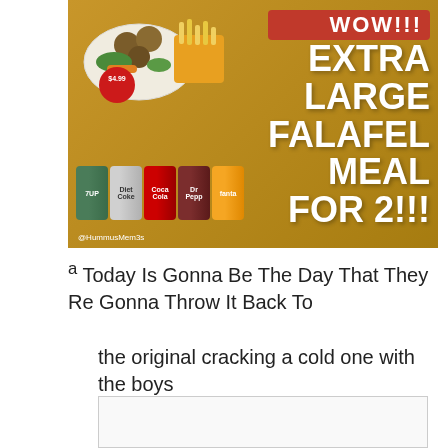[Figure (photo): Promotional image for Extra Large Falafel Meal For 2 priced at $4.99, showing falafel food plate, fries, cans of 7UP, Diet Coke, Coca-Cola, Dr Pepper, and Fanta on a golden/brown background. Text reads WOW!!! EXTRA LARGE FALAFEL MEAL FOR 2!!! Watermark: @HummusMem3s]
a Today Is Gonna Be The Day That They Re Gonna Throw It Back To
the original cracking a cold one with the boys
[Figure (photo): Partially visible image at bottom of page showing an outdoor scene on the left and what appears to be a lighter or object on the right against white background]